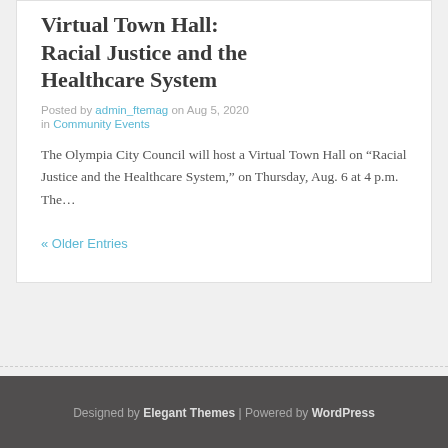Virtual Town Hall: Racial Justice and the Healthcare System
Posted by admin_ftemag on Aug 5, 2020 in Community Events
The Olympia City Council will host a Virtual Town Hall on “Racial Justice and the Healthcare System,” on Thursday, Aug. 6 at 4 p.m. The…
« Older Entries
Designed by Elegant Themes | Powered by WordPress